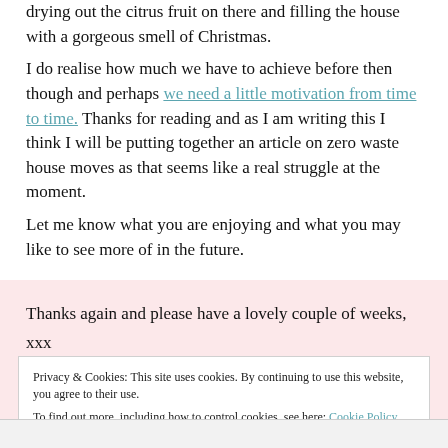drying out the citrus fruit on there and filling the house with a gorgeous smell of Christmas.
I do realise how much we have to achieve before then though and perhaps we need a little motivation from time to time. Thanks for reading and as I am writing this I think I will be putting together an article on zero waste house moves as that seems like a real struggle at the moment.
Let me know what you are enjoying and what you may like to see more of in the future.
Thanks again and please have a lovely couple of weeks,
xxx
Privacy & Cookies: This site uses cookies. By continuing to use this website, you agree to their use.
To find out more, including how to control cookies, see here: Cookie Policy
Close and accept